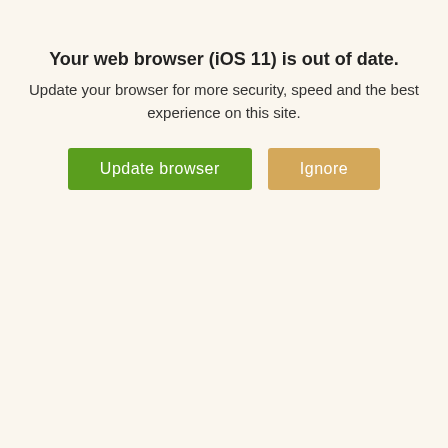Your web browser (iOS 11) is out of date.
Update your browser for more security, speed and the best experience on this site.
Update browser | Ignore
knotted rug using 100% Persian wool. It measures 3'1" x 4'7".
SOLD OUT
Shop now. Pay with Klarna. Learn more